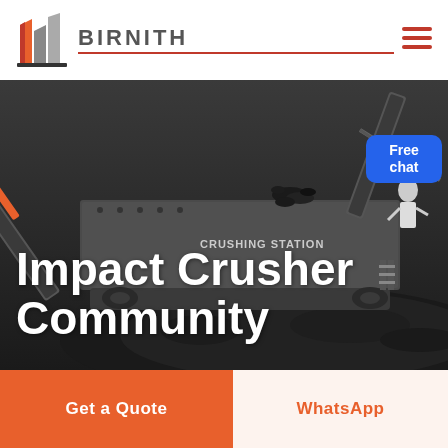BIRNITH
[Figure (photo): Industrial impact crusher / crushing station machinery photographed outdoors, with large conveyor arms, dark coal or aggregate material piled in foreground, dark dramatic background.]
Impact Crusher Community
Free chat
Get a Quote
WhatsApp